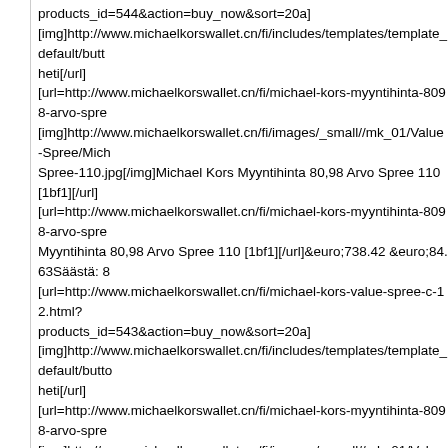products_id=544&action=buy_now&sort=20a] [img]http://www.michaelkorswallet.cn/fi/includes/templates/template_default/butt heti[/url] [url=http://www.michaelkorswallet.cn/fi/michael-kors-myyntihinta-8098-arvo-spr [img]http://www.michaelkorswallet.cn/fi/images/_small//mk_01/Value-Spree/Mich Spree-110.jpg[/img]Michael Kors Myyntihinta 80,98 Arvo Spree 110 [1bf1][/url] [url=http://www.michaelkorswallet.cn/fi/michael-kors-myyntihinta-8098-arvo-spr Myyntihinta 80,98 Arvo Spree 110 [1bf1][/url]&euro;738.42 &euro;84.63Säästä: [url=http://www.michaelkorswallet.cn/fi/michael-kors-value-spree-c-12.html?products_id=543&action=buy_now&sort=20a] [img]http://www.michaelkorswallet.cn/fi/includes/templates/template_default/butt heti[/url] [url=http://www.michaelkorswallet.cn/fi/michael-kors-myyntihinta-8098-arvo-spr [img]http://www.michaelkorswallet.cn/fi/images/_small//mk_01/Value-Spree/Mich Spree-111.jpg[/img]Michael Kors Myyntihinta 80,98 Arvo Spree 111 [faf6][/url]<a href="http://www.michaelkorswallet.cn/fi/michael-kors-myyntihinta-8098-arvo-sp Kors Myyntihinta 80,98 Arvo Spree 111 [faf6]</a>&euro;736.56 &euro;88.35Sää [url=http://www.michaelkorswallet.cn/fi/michael-kors-value-spree-c-12.html?products_id=542&action=buy_now&sort=20a] [img]http://www.michaelkorswallet.cn/fi/includes/templates/template_default/butt heti[/url] [url=http://www.michaelkorswallet.cn/fi/michael-kors-myyntihinta-8098-arvo-spr [img]http://www.michaelkorswallet.cn/fi/images/_small//mk_01/Value-Spree/Mich Spree-112.jpg[/img]Michael Kors Myyntihinta 80,98 Arvo Spree 112 [5de7][/url]< href="http://www.michaelkorswallet.cn/fi/michael-kors-myyntihinta-8098-arvo-sp